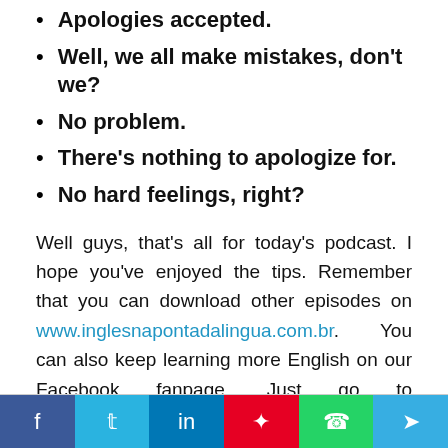Apologies accepted.
Well, we all make mistakes, don't we?
No problem.
There's nothing to apologize for.
No hard feelings, right?
Well guys, that's all for today's podcast. I hope you've enjoyed the tips. Remember that you can download other episodes on www.inglesnapontadalingua.com.br. You can also keep learning more English on our Facebook fanpage. Just go to www.facebook.com/inglesnapontadalingua and hit like. Get ready for the next podcast, guys. Take care.